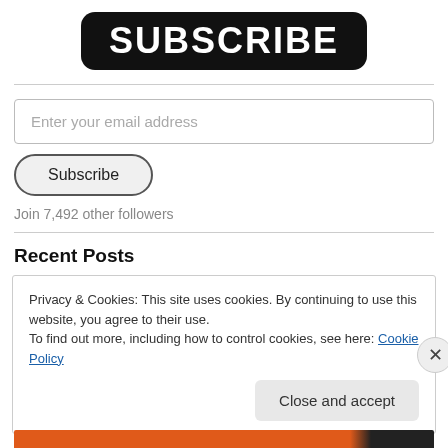SUBSCRIBE
Enter your email address
Subscribe
Join 7,492 other followers
Recent Posts
Privacy & Cookies: This site uses cookies. By continuing to use this website, you agree to their use.
To find out more, including how to control cookies, see here: Cookie Policy
Close and accept